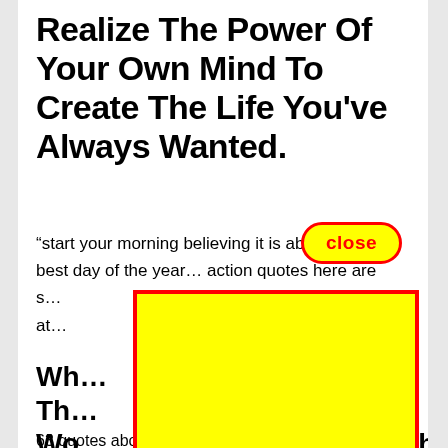Realize The Power Of Your Own Mind To Create The Life You've Always Wanted.
“start your morning believing it is about to be the best day of the year… action quotes here are s… law of at… life. It is t…
[Figure (other): A yellow rectangle with red border overlay covering part of the page content, with a red-bordered 'close' button overlapping the text above]
Wh… Th… Wo… …h Oth…
63 quotes about the law of attraction, Rhonda…